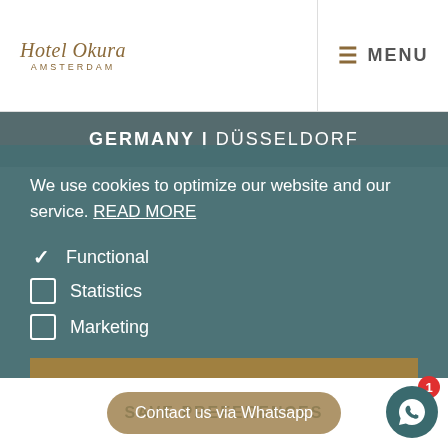[Figure (logo): Hotel Okura Amsterdam logo in gold/brown italic script with AMSTERDAM in small caps below]
≡ MENU
GERMANY | DÜSSELDORF
We use cookies to optimize our website and our service. READ MORE
✓ Functional
☐ Statistics
☐ Marketing
ACCEPT ALL
SAVE PREFERENCES
Contact us via Whatsapp